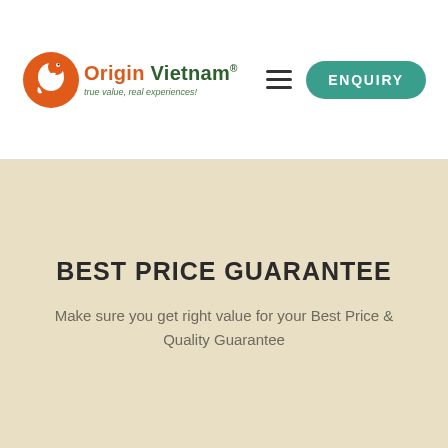[Figure (logo): Origin Vietnam logo with orange bird silhouette and green text. Tagline: true value, real experiences!]
BEST PRICE GUARANTEE
Make sure you get right value for your Best Price & Quality Guarantee